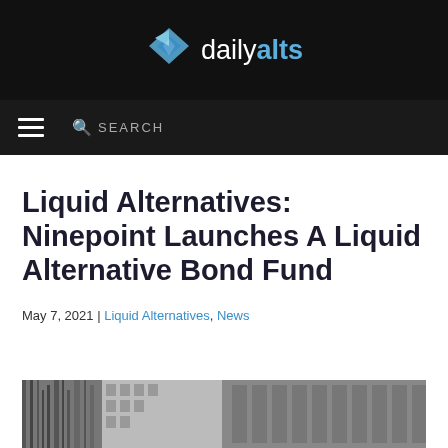[Figure (logo): Daily Alts logo with blue diamond icon and text 'dailyalts' on black background]
SEARCH
Liquid Alternatives: Ninepoint Launches A Liquid Alternative Bond Fund
May 7, 2021 | Liquid Alternatives, News
[Figure (photo): Partial view of urban building architecture, grayscale]